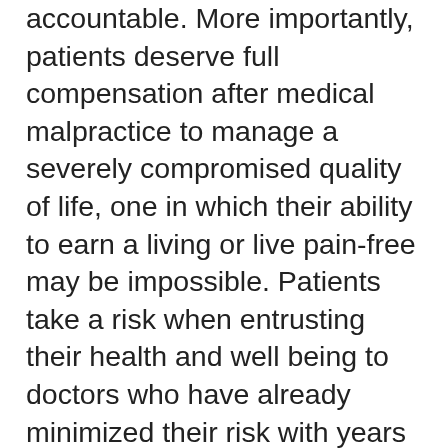accountable. More importantly, patients deserve full compensation after medical malpractice to manage a severely compromised quality of life, one in which their ability to earn a living or live pain-free may be impossible. Patients take a risk when entrusting their health and well being to doctors who have already minimized their risk with years of training and malpractice insurance.
By taking the fight to end cap limitations to the California Supreme Court, patient advocates hope that a final ruling in their favor will put the lives of people over the cold actuarial tables of insurance companies.
If you or a loved one has experienced a catastrophic injury you must learn more about your legal rights to receive benefits which you are entitled to if your injury is due to a negligent party.